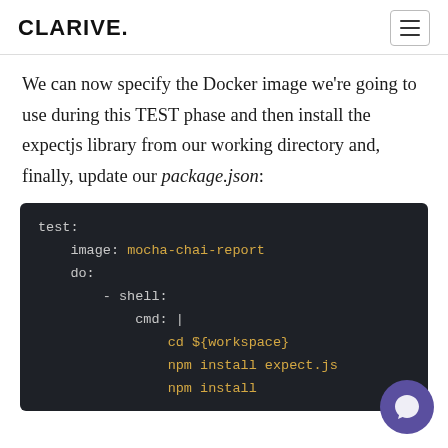CLARIVE.
We can now specify the Docker image we're going to use during this TEST phase and then install the expectjs library from our working directory and, finally, update our package.json:
[Figure (screenshot): Code block showing YAML configuration: test: image: mocha-chai-report, do: - shell: cmd: | cd ${workspace} npm install expect.js npm install]